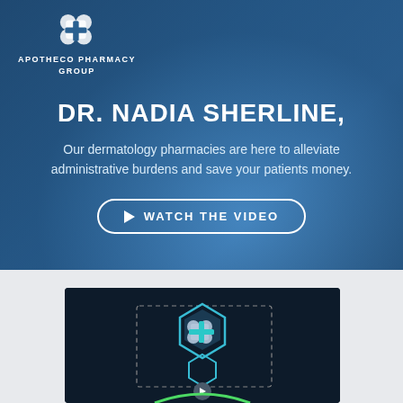[Figure (logo): Apotheco Pharmacy Group logo with cross/pill icon in white]
DR. NADIA SHERLINE,
Our dermatology pharmacies are here to alleviate administrative burdens and save your patients money.
[Figure (other): WATCH THE VIDEO button with play triangle icon, white rounded border]
[Figure (screenshot): Video thumbnail showing Apotheco Pharmacy Group logo animation on dark background with play button]